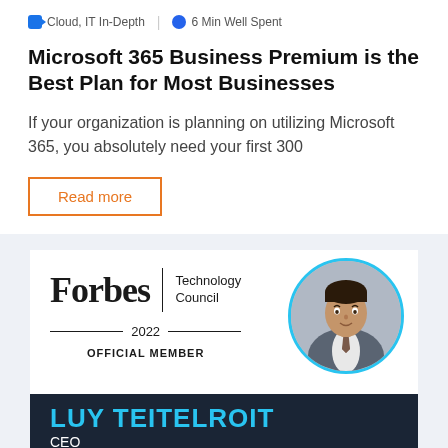Cloud, IT In-Depth | 6 Min Well Spent
Microsoft 365 Business Premium is the Best Plan for Most Businesses
If your organization is planning on utilizing Microsoft 365, you absolutely need your first 300
Read more
[Figure (infographic): Forbes Technology Council 2022 Official Member badge with photo of Luy Teitelroit, CEO, in a circular blue-bordered frame]